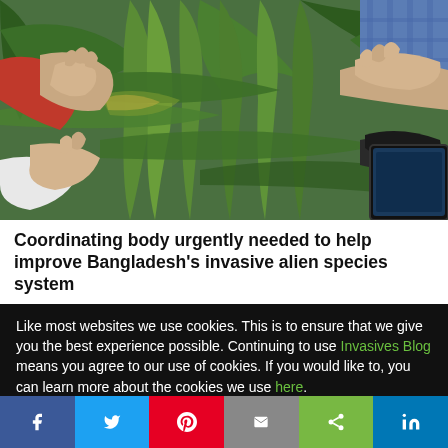[Figure (photo): Hands of multiple people examining corn/maize plant leaves in a field, close-up agricultural inspection scene with green corn plants.]
Coordinating body urgently needed to help improve Bangladesh's invasive alien species system
Like most websites we use cookies. This is to ensure that we give you the best experience possible. Continuing to use Invasives Blog means you agree to our use of cookies. If you would like to, you can learn more about the cookies we use here.